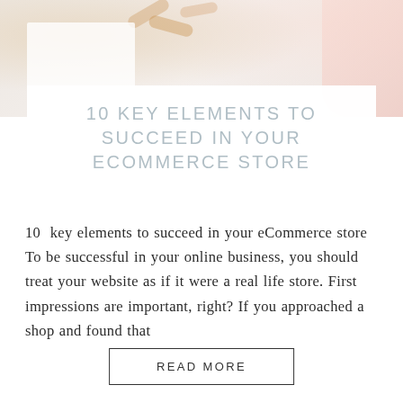[Figure (photo): Lifestyle flat-lay photo showing gold paper clips, decorative items on a light background with a pink element in the upper right corner]
10 KEY ELEMENTS TO SUCCEED IN YOUR ECOMMERCE STORE
10 key elements to succeed in your eCommerce store  To be successful in your online business, you should treat your website as if it were a real life store. First impressions are important, right? If you approached a shop and found that
READ MORE